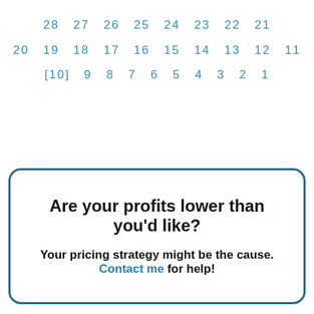28 27 26 25 24 23 22 21
20 19 18 17 16 15 14 13 12 11
[10] 9 8 7 6 5 4 3 2 1
Are your profits lower than you'd like?

Your pricing strategy might be the cause. Contact me for help!